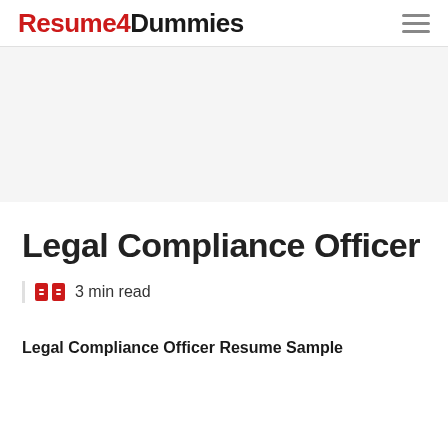Resume4Dummies
Legal Compliance Officer
3 min read
Legal Compliance Officer Resume Sample